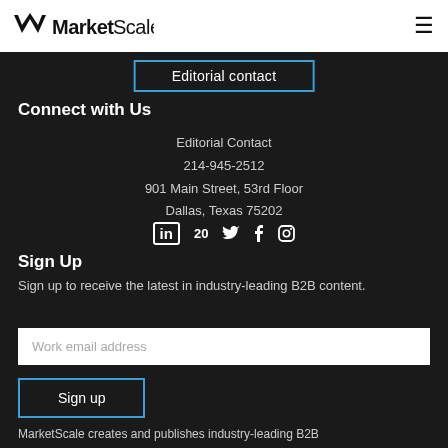[Figure (logo): MarketScale logo with stylized M chevron and wordmark]
Editorial contact
Connect with Us
Editorial Contact
214-945-2512
901 Main Street, 53rd Floor
Dallas, Texas 75202
in  20 (Twitter) (Facebook) (Instagram)
Sign Up
Sign up to receive the latest in industry-leading B2B content.
Work email address
Sign up
MarketScale creates and publishes industry-leading B2B